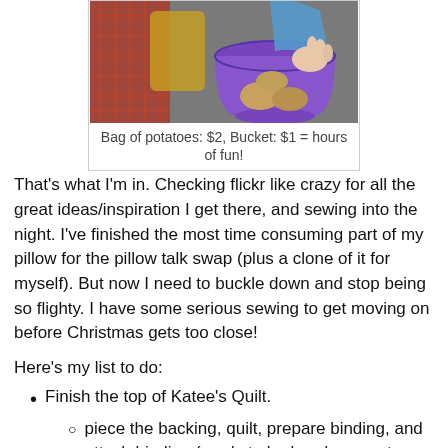[Figure (photo): Child's hands in a purple bucket with potatoes; red mesh bag of potatoes visible nearby]
Bag of potatoes: $2, Bucket: $1 = hours of fun!
That's what I'm in. Checking flickr like crazy for all the great ideas/inspiration I get there, and sewing into the night. I've finished the most time consuming part of my pillow for the pillow talk swap (plus a clone of it for myself). But now I need to buckle down and stop being so flighty. I have some serious sewing to get moving on before Christmas gets too close!
Here's my list to do:
Finish the top of Katee's Quilt.
piece the backing, quilt, prepare binding, and attach binding (ready to be hand sewn at thanksgiving).
Buy fabric for the backing of Gia's baby quilt.